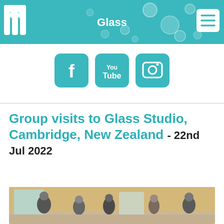Glass
[Figure (illustration): Three teal/turquoise social media icon buttons: Facebook (f), YouTube (You Tube), and Instagram (camera icon), displayed on a white background]
Group visits to Glass Studio, Cambridge, New Zealand - 22nd Jul 2022
[Figure (photo): Group of people gathered inside a glass studio workshop in Cambridge, New Zealand]